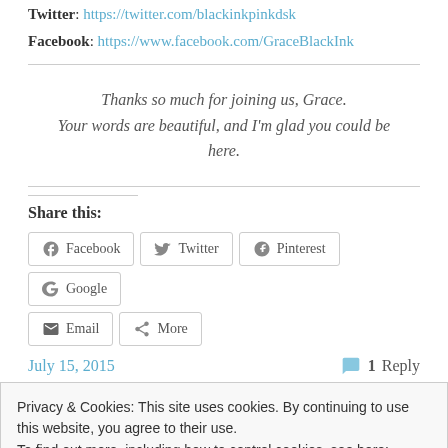Twitter: https://twitter.com/blackinkpinkdsk
Facebook: https://www.facebook.com/GraceBlackInk
Thanks so much for joining us, Grace.
Your words are beautiful, and I'm glad you could be here.
Share this:
Facebook | Twitter | Pinterest | Google | Email | More
July 15, 2015
1 Reply
Privacy & Cookies: This site uses cookies. By continuing to use this website, you agree to their use.
To find out more, including how to control cookies, see here: Cookie Policy